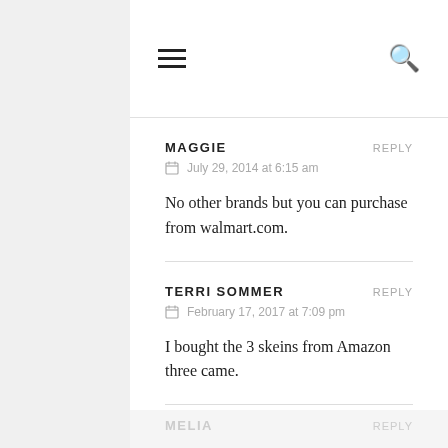☰  🔍
MAGGIE  REPLY
📅 July 29, 2014 at 6:15 am
No other brands but you can purchase from walmart.com.
TERRI SOMMER  REPLY
📅 February 17, 2017 at 7:09 pm
I bought the 3 skeins from Amazon three came.
MELIA  REPLY